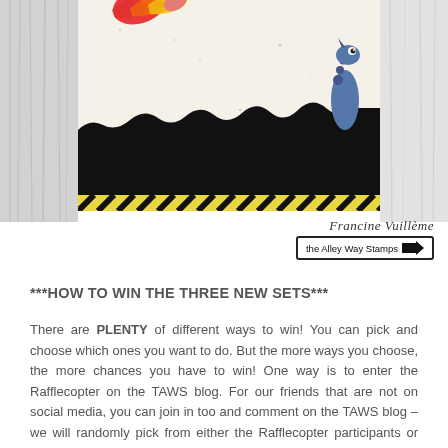[Figure (photo): A craft card featuring a cartoon sea monster/dinosaur peeking above black wavy ocean water with a colorful flame/splash effect at top. The card has a speckled cream background and black-and-yellow striped border at the bottom. Flanked by wood-grain/white textured side panels.]
Francine Vuillème
the Alley Way Stamps →
***HOW TO WIN THE THREE NEW SETS***
There are PLENTY of different ways to win! You can pick and choose which ones you want to do. But the more ways you choose, the more chances you have to win! One way is to enter the Rafflecopter on the TAWS blog. For our friends that are not on social media, you can join in too and comment on the TAWS blog – we will randomly pick from either the Rafflecopter participants or commenters! Another way to win